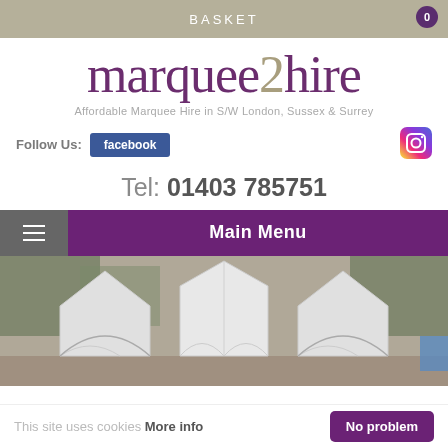BASKET
marquee2hire
Affordable Marquee Hire in S/W London, Sussex & Surrey
Follow Us: facebook [Instagram icon]
Tel: 01403 785751
Main Menu
[Figure (photo): Outdoor marquee tent event photo showing white peaked marquee tops]
This site uses cookies More info   No problem